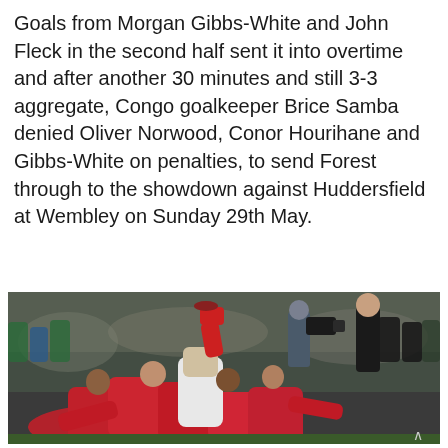Goals from Morgan Gibbs-White and John Fleck in the second half sent it into overtime and after another 30 minutes and still 3-3 aggregate, Congo goalkeeper Brice Samba denied Oliver Norwood, Conor Hourihane and Gibbs-White on penalties, to send Forest through to the showdown against Huddersfield at Wembley on Sunday 29th May.
[Figure (photo): A celebration scene from a football match showing Nottingham Forest players in red and white kits piling on top of each other in jubilation on the pitch, with crowd and a cameraman visible in the background.]